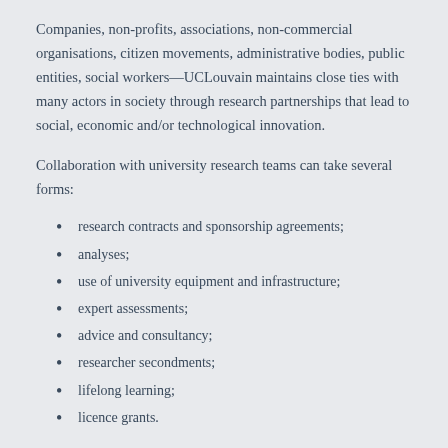Companies, non-profits, associations, non-commercial organisations, citizen movements, administrative bodies, public entities, social workers—UCLouvain maintains close ties with many actors in society through research partnerships that lead to social, economic and/or technological innovation.
Collaboration with university research teams can take several forms:
research contracts and sponsorship agreements;
analyses;
use of university equipment and infrastructure;
expert assessments;
advice and consultancy;
researcher secondments;
lifelong learning;
licence grants.
How to start and fund a project